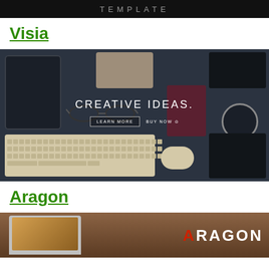[Figure (screenshot): Partial top portion of a dark website template preview with light grey text 'TEMPLATE' on black background]
Visia
[Figure (screenshot): Website template preview showing a dark desk scene with tablet, keyboard, mouse, notebook, glasses, and watch. Overlay text reads 'CREATIVE IDEAS.' with 'LEARN MORE' and 'BUY NOW' buttons]
Aragon
[Figure (screenshot): Partial bottom preview of Aragon website template showing a laptop mockup on warm brown background with 'ARAGON' text where the A is in red]